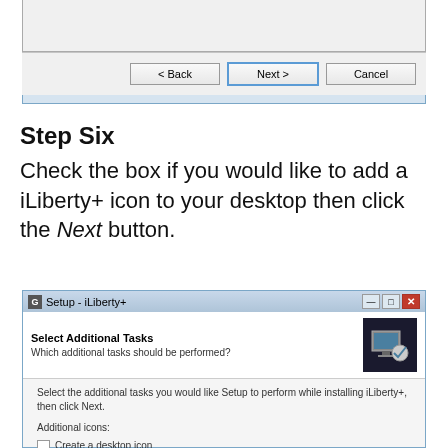[Figure (screenshot): Bottom of a Windows installer dialog showing Back, Next, and Cancel buttons. The window has a light blue bottom border.]
Step Six
Check the box if you would like to add a iLiberty+ icon to your desktop then click the Next button.
[Figure (screenshot): Windows Setup dialog for iLiberty+ showing 'Select Additional Tasks' with a checkbox for 'Create a desktop icon' under Additional icons section.]